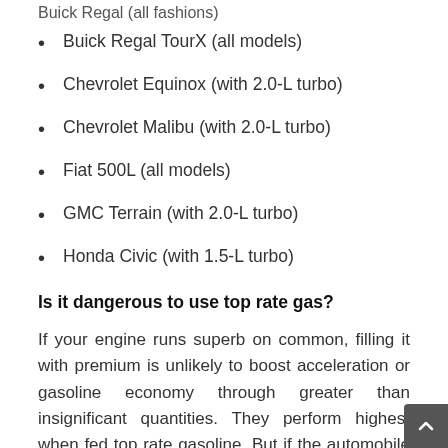Buick Regal (all fashions)
Buick Regal TourX (all models)
Chevrolet Equinox (with 2.0-L turbo)
Chevrolet Malibu (with 2.0-L turbo)
Fiat 500L (all models)
GMC Terrain (with 2.0-L turbo)
Honda Civic (with 1.5-L turbo)
Is it dangerous to use top rate gas?
If your engine runs superb on common, filling it with premium is unlikely to boost acceleration or gasoline economy through greater than insignificant quantities. They perform highest when fed top rate gasoline. But if the automobile producer says your engine wishes mo...